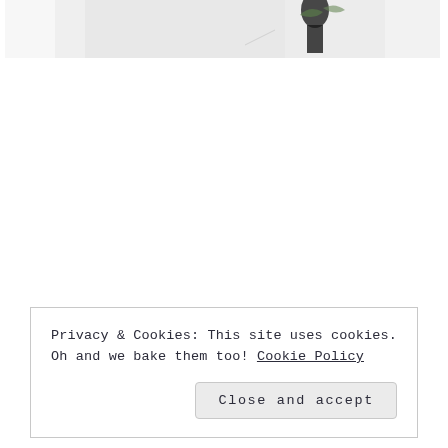[Figure (photo): Partial photo strip at top of page showing a light gray/white scene with a dark figure (possibly a plant or person) visible in the center-right area]
Privacy & Cookies: This site uses cookies. Oh and we bake them too! Cookie Policy
Close and accept